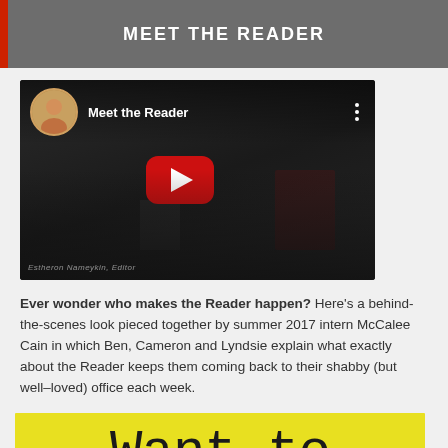MEET THE READER
[Figure (screenshot): YouTube video thumbnail for 'Meet the Reader' showing a dark scene with a YouTube play button, a circular avatar photo of a woman, and the video title 'Meet the Reader']
Ever wonder who makes the Reader happen? Here's a behind-the-scenes look pieced together by summer 2017 intern McCalee Cain in which Ben, Cameron and Lyndsie explain what exactly about the Reader keeps them coming back to their shabby (but well-loved) office each week.
Want to